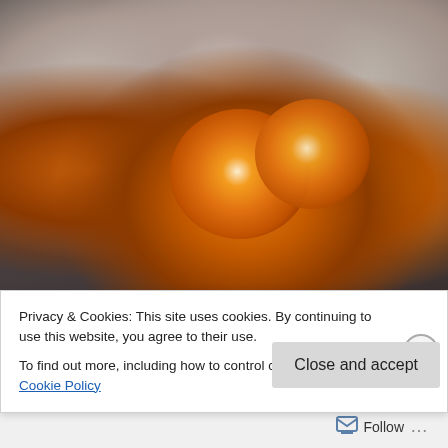[Figure (photo): Close-up food photograph of orange/citrus slices with white glaze or cream, black berries/peppercorns scattered on top, on a dark background. The dessert appears to be glazed citrus with crystallized sugar.]
Privacy & Cookies: This site uses cookies. By continuing to use this website, you agree to their use.
To find out more, including how to control cookies, see here: Cookie Policy
Close and accept
Follow